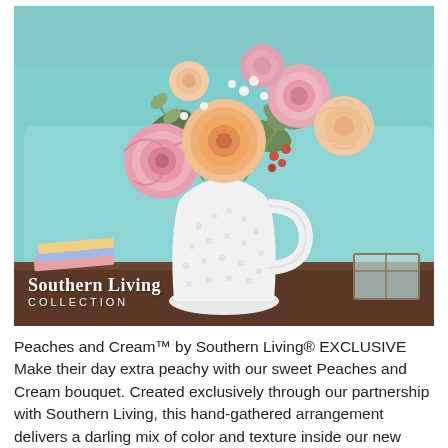[Figure (photo): A floral arrangement of pink and peach roses, carnations, and greenery in a white textured ceramic pitcher vase, placed on a dark wooden table. A teal/aqua sofa is in the background. Books and a glass trinket box are also on the table. A 'Southern Living Collection' logo/watermark appears in the lower-left of the photo.]
Peaches and Cream™ by Southern Living® EXCLUSIVE Make their day extra peachy with our sweet Peaches and Cream bouquet. Created exclusively through our partnership with Southern Living, this hand-gathered arrangement delivers a darling mix of color and texture inside our new Timeless Treasure pitcher. Full of vintage